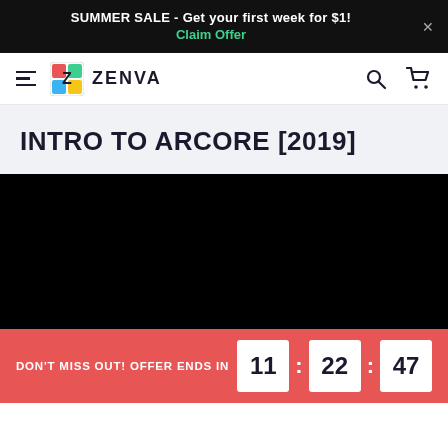SUMMER SALE - Get your first week for $1! Claim Offer
[Figure (logo): Zenva logo with colorful Z icon and ZENVA text]
INTRO TO ARCORE [2019]
[Figure (screenshot): Black video player area]
DON'T MISS OUT! OFFER ENDS IN 11 : 22 : 47